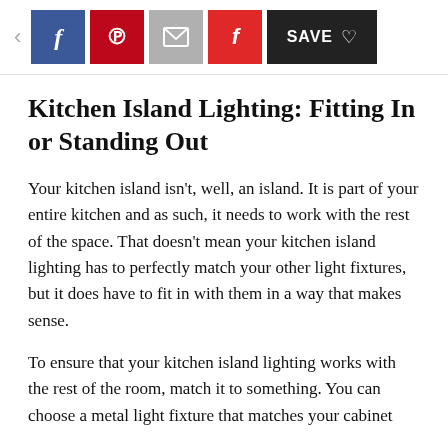< f p [email] f SAVE ♡
Kitchen Island Lighting: Fitting In or Standing Out
Your kitchen island isn't, well, an island. It is part of your entire kitchen and as such, it needs to work with the rest of the space. That doesn't mean your kitchen island lighting has to perfectly match your other light fixtures, but it does have to fit in with them in a way that makes sense.
To ensure that your kitchen island lighting works with the rest of the room, match it to something. You can choose a metal light fixture that matches your cabinet